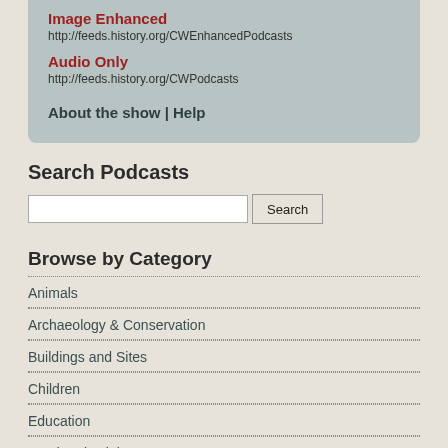Image Enhanced
http://feeds.history.org/CWEnhancedPodcasts
Audio Only
http://feeds.history.org/CWPodcasts
About the show | Help
Search Podcasts
Browse by Category
Animals
Archaeology & Conservation
Buildings and Sites
Children
Education
Food and Drink
Government